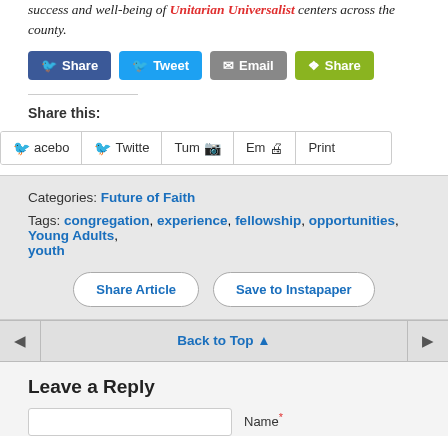success and well-being of Unitarian Universalist centers across the county.
[Figure (screenshot): Social share buttons: Facebook Share (blue), Tweet (blue), Email (gray), Share (green)]
Share this:
[Figure (screenshot): Social share widget strip with buttons: Facebook, Twitter, Tumblr, Email, Print]
Categories: Future of Faith
Tags: congregation, experience, fellowship, opportunities, Young Adults, youth
[Figure (screenshot): Action buttons: Share Article and Save to Instapaper]
Back to Top ▲
Leave a Reply
Name*